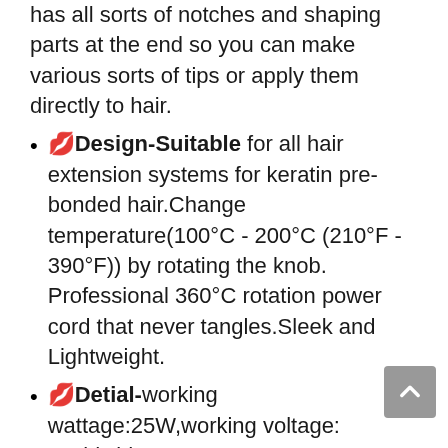has all sorts of notches and shaping parts at the end so you can make various sorts of tips or apply them directly to hair.
💋Design-Suitable for all hair extension systems for keratin pre-bonded hair.Change temperature(100°C - 200°C (210°F - 390°F)) by rotating the knob. Professional 360°C rotation power cord that never tangles.Sleek and Lightweight.
💋Detial-working wattage:25W,working voltage: worldwide 100-240V,constant type temp: 100-200°C/ 210-390℉.Size:Constant Temperature.Color:Black,Cable length:2.5 meters
💋Material:100% T...